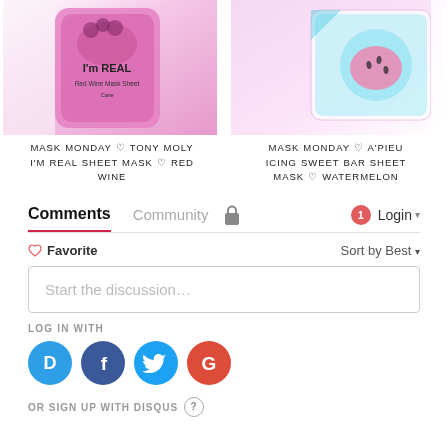[Figure (photo): Product photo of Tony Moly I'm Real Sheet Mask Red Wine, pink packaging]
MASK MONDAY ♡ TONY MOLY I'M REAL SHEET MASK ♡ RED WINE
[Figure (photo): Product photo of A'Pieu Icing Sweet Bar Sheet Mask Watermelon]
MASK MONDAY ♡ A'PIEU ICING SWEET BAR SHEET MASK ♡ WATERMELON
Comments  Community  🔒  1  Login
♡ Favorite   Sort by Best ▾
Start the discussion…
LOG IN WITH
[Figure (logo): Disqus, Facebook, Twitter, Google social login icons]
OR SIGN UP WITH DISQUS ?